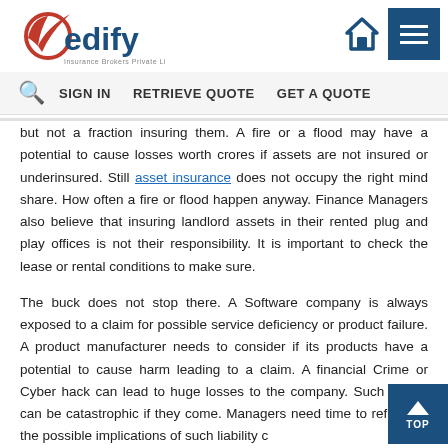eVedify Insurance Brokers Private Limited — SIGN IN | RETRIEVE QUOTE | GET A QUOTE
but not a fraction insuring them. A fire or a flood may have a potential to cause losses worth crores if assets are not insured or underinsured. Still asset insurance does not occupy the right mind share. How often a fire or flood happen anyway. Finance Managers also believe that insuring landlord assets in their rented plug and play offices is not their responsibility. It is important to check the lease or rental conditions to make sure.
The buck does not stop there. A Software company is always exposed to a claim for possible service deficiency or product failure. A product manufacturer needs to consider if its products have a potential to cause harm leading to a claim. A financial Crime or Cyber hack can lead to huge losses to the company. Such claims can be catastrophic if they come. Managers need time to reflect on the possible implications of such liability c…
For the risk manager, it is about spending time where the money